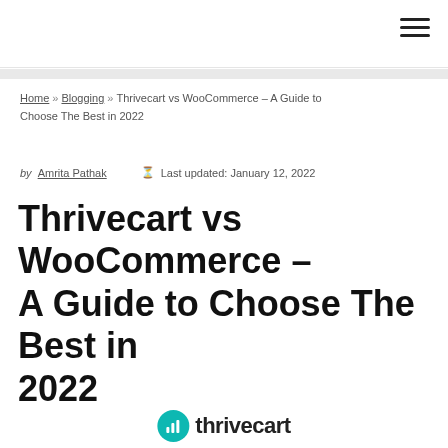Home » Blogging » Thrivecart vs WooCommerce – A Guide to Choose The Best in 2022
by Amrita Pathak   Last updated: January 12, 2022
Thrivecart vs WooCommerce – A Guide to Choose The Best in 2022
[Figure (logo): Thrivecart logo with teal circle icon and 'thrivecart' text]